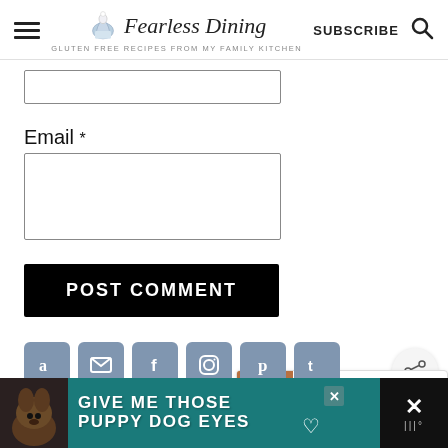Fearless Dining — GLUTEN FREE RECIPES FROM MY FAMILY KITCHEN
Email *
[Figure (screenshot): Email input field (empty text box)]
[Figure (screenshot): POST COMMENT button (black)]
[Figure (screenshot): Share floating button]
[Figure (screenshot): What's Next panel: Quick & Easy Air Fryer Cod]
[Figure (screenshot): Social media icons bar: Amazon, Email, Facebook, Instagram, Pinterest, Twitter]
[Figure (screenshot): Ad banner: GIVE ME THOSE PUPPY DOG EYES]